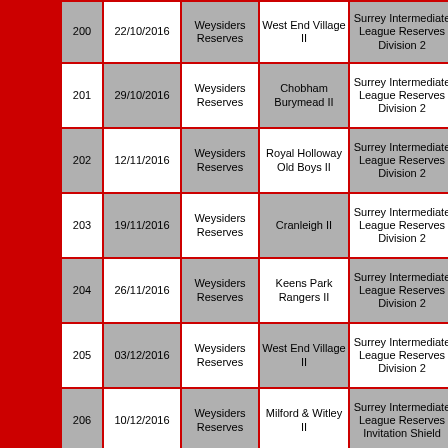| # | Date | Team | Opponent | Competition | H/A |
| --- | --- | --- | --- | --- | --- |
| 200 | 22/10/2016 | Weysiders Reserves | West End Village II | Surrey Intermediate League Reserves Division 2 | H |
| 201 | 29/10/2016 | Weysiders Reserves | Chobham Burymead II | Surrey Intermediate League Reserves Division 2 | A |
| 202 | 12/11/2016 | Weysiders Reserves | Royal Holloway Old Boys II | Surrey Intermediate League Reserves Division 2 | H |
| 203 | 19/11/2016 | Weysiders Reserves | Cranleigh II | Surrey Intermediate League Reserves Division 2 | A |
| 204 | 26/11/2016 | Weysiders Reserves | Keens Park Rangers II | Surrey Intermediate League Reserves Division 2 | H |
| 205 | 03/12/2016 | Weysiders Reserves | West End Village II | Surrey Intermediate League Reserves Division 2 | A |
| 206 | 10/12/2016 | Weysiders Reserves | Milford & Witley II | Surrey Intermediate League Reserves Invitation Shield | H |
| 207 |  | Weysiders Reserves |  | Surrey |  |